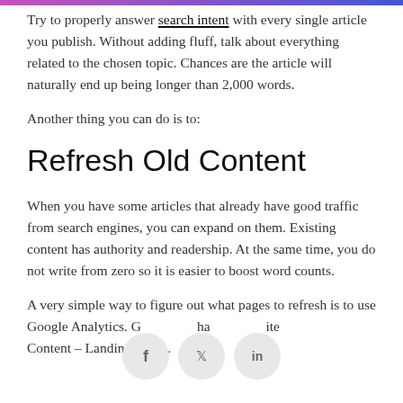Try to properly answer search intent with every single article you publish. Without adding fluff, talk about everything related to the chosen topic. Chances are the article will naturally end up being longer than 2,000 words.
Another thing you can do is to:
Refresh Old Content
When you have some articles that already have good traffic from search engines, you can expand on them. Existing content has authority and readership. At the same time, you do not write from zero so it is easier to boost word counts.
A very simple way to figure out what pages to refresh is to use Google Analytics. G [social icons] ha [social icons] ite Content – Landing Pages.